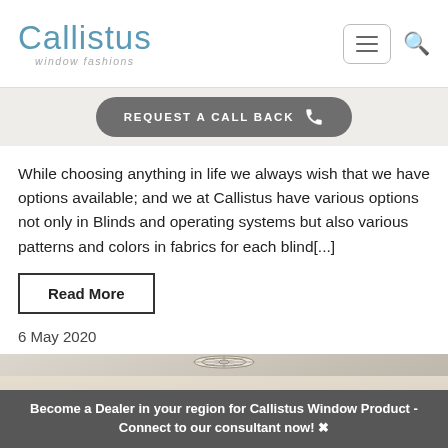Callistus window fashions
[Figure (other): REQUEST A CALL BACK button with phone icon on grey banner]
While choosing anything in life we always wish that we have options available; and we at Callistus have various options not only in Blinds and operating systems but also various patterns and colors in fabrics for each blind[...]
Read More
6 May 2020
[Figure (photo): Interior room photo showing ceiling with decorative medallion]
Become a Dealer in your region for Callistus Window Product - Connect to our consultant now! ✖